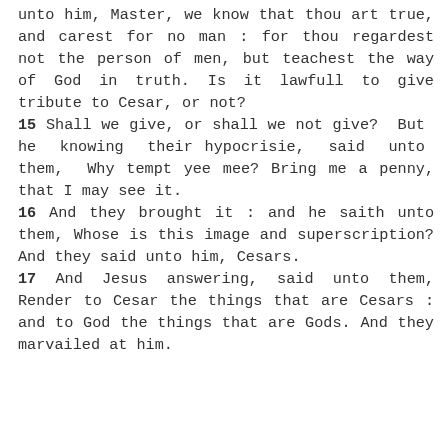unto him, Master, we know that thou art true, and carest for no man : for thou regardest not the person of men, but teachest the way of God in truth. Is it lawfull to give tribute to Cesar, or not?
15 Shall we give, or shall we not give? But he knowing their hypocrisie, said unto them, Why tempt yee mee? Bring me a penny, that I may see it.
16 And they brought it : and he saith unto them, Whose is this image and superscription? And they said unto him, Cesars.
17 And Jesus answering, said unto them, Render to Cesar the things that are Cesars : and to God the things that are Gods. And they marvailed at him.